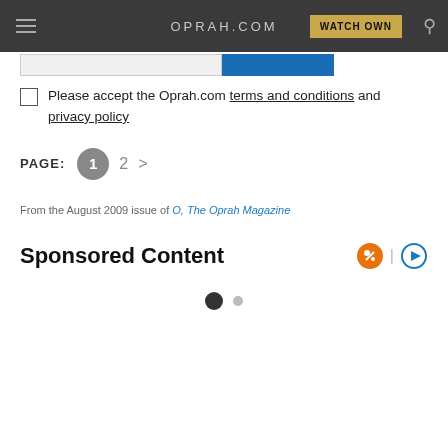OPRAH.COM | WATCH OWN
Please accept the Oprah.com terms and conditions and privacy policy
PAGE: 1 2 >
From the August 2009 issue of O, The Oprah Magazine
Sponsored Content